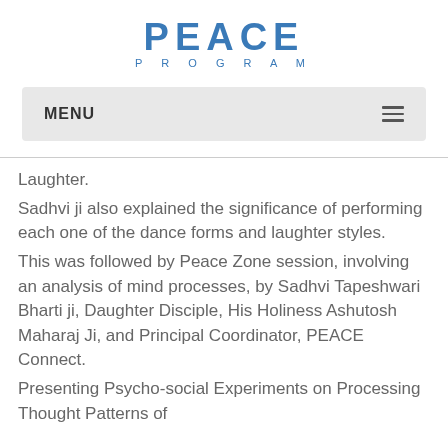[Figure (logo): PEACE PROGRAM logo in blue with large PEACE text and smaller PROGRAM text below with letter spacing]
MENU
Laughter.
Sadhvi ji also explained the significance of performing each one of the dance forms and laughter styles.
This was followed by Peace Zone session, involving an analysis of mind processes, by Sadhvi Tapeshwari Bharti ji, Daughter Disciple, His Holiness Ashutosh Maharaj Ji, and Principal Coordinator, PEACE Connect.
Presenting Psycho-social Experiments on Processing Thought Patterns of